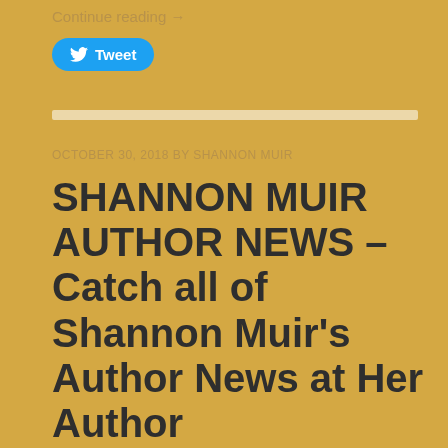Continue reading →
[Figure (other): Twitter Tweet button with bird icon]
OCTOBER 30, 2018 by SHANNON MUIR
SHANNON MUIR AUTHOR NEWS – Catch all of Shannon Muir's Author News at Her Author